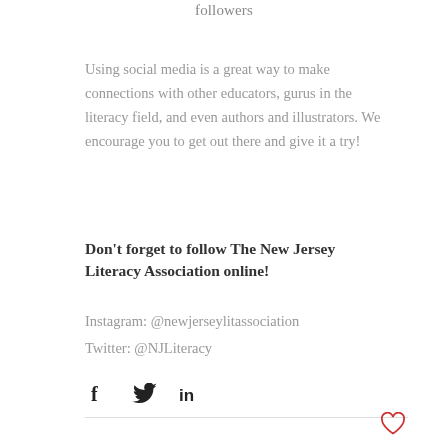followers
Using social media is a great way to make connections with other educators, gurus in the literacy field, and even authors and illustrators. We encourage you to get out there and give it a try!
Don't forget to follow The New Jersey Literacy Association online!
Instagram: @newjerseylitassociation
Twitter: @NJLiteracy
[Figure (infographic): Social share icons: Facebook (f), Twitter bird, LinkedIn (in)]